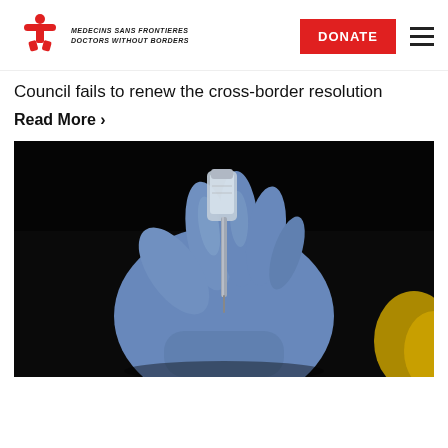[Figure (logo): Médecins Sans Frontières / Doctors Without Borders logo with red cross figure and organization name in italic bold text]
DONATE
Council fails to renew the cross-border resolution
Read More ›
[Figure (photo): Close-up photograph of a gloved hand (blue latex glove) holding a medical syringe with a small glass vial, on a dark background with yellow visible at edge]